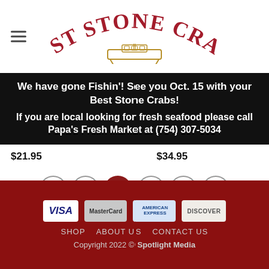BEST STONE CRABS
We have gone Fishin'! See you Oct. 15 with your Best Stone Crabs! If you are local looking for fresh seafood please call Papa's Fresh Market at (754) 307-5034
$21.95   $34.95
< 1 2 3 4 >
VISA  MasterCard  AMERICAN EXPRESS  DISCOVER  SHOP  ABOUT US  CONTACT US  Copyright 2022 © Spotlight Media